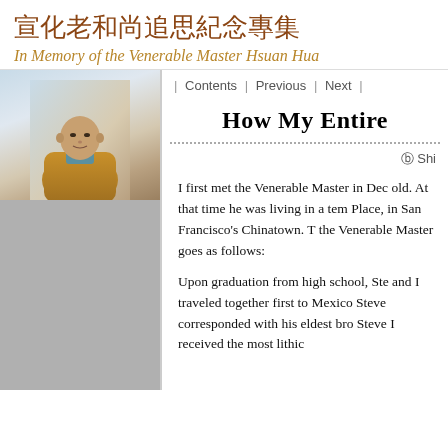宣化老和尚追思紀念專集
In Memory of the Venerable Master Hsuan Hua
[Figure (photo): Portrait photo of a Buddhist monk (Venerable Master Hsuan Hua) wearing a yellow/orange robe, with a light blue/sky background]
| Contents | Previous | Next |
How My Entire
© Shi
I first met the Venerable Master in Dec old. At that time he was living in a tem Place, in San Francisco's Chinatown. T the Venerable Master goes as follows:
Upon graduation from high school, Ste and I traveled together first to Mexico Steve corresponded with his eldest bro Steve I received the most lithic